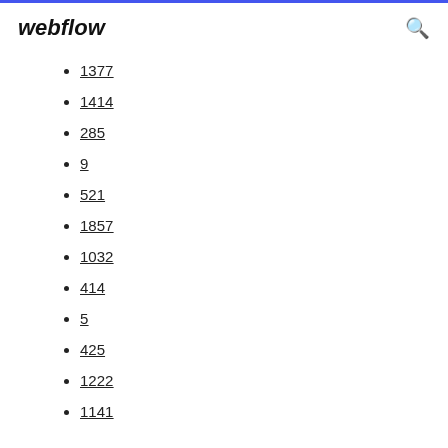webflow
1377
1414
285
9
521
1857
1032
414
5
425
1222
1141